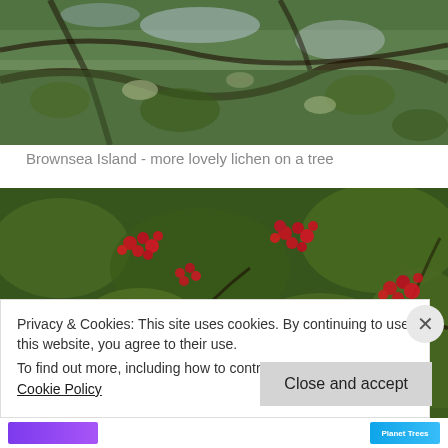[Figure (photo): Partially cropped photo showing tree branches with lichen, green and grey tones, taken at Brownsea Island]
Brownsea Island - more lovely lichen on a tree
[Figure (photo): Photo of rowan tree branches densely covered with clusters of bright red berries among green feathery leaves]
Privacy & Cookies: This site uses cookies. By continuing to use this website, you agree to their use.
To find out more, including how to control cookies, see here: Cookie Policy
Close and accept